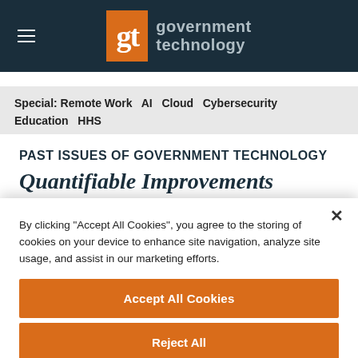government technology
Special: Remote Work   AI   Cloud   Cybersecurity   Education   HHS   Industry   Local   Network
PAST ISSUES OF GOVERNMENT TECHNOLOGY
Quantifiable Improvements
By clicking "Accept All Cookies", you agree to the storing of cookies on your device to enhance site navigation, analyze site usage, and assist in our marketing efforts.
Accept All Cookies
Reject All
Cookies Settings